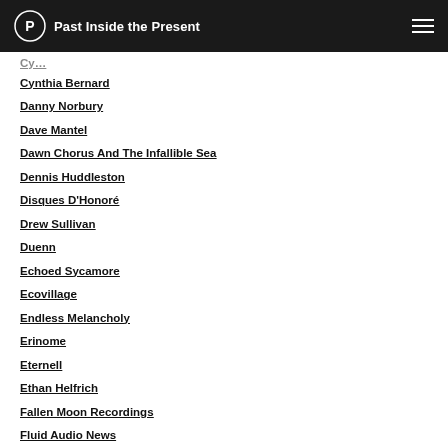Past Inside the Present
Cynthia Bernard
Danny Norbury
Dave Mantel
Dawn Chorus And The Infallible Sea
Dennis Huddleston
Disques D'Honoré
Drew Sullivan
Duenn
Echoed Sycamore
Ecovillage
Endless Melancholy
Erinome
Eternell
Ethan Helfrich
Fallen Moon Recordings
Fluid Audio News
FMR Behind The Music